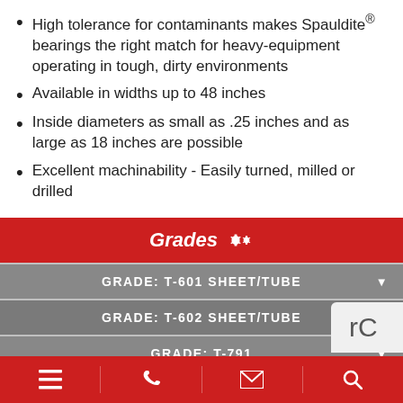High tolerance for contaminants makes Spauldite® bearings the right match for heavy-equipment operating in tough, dirty environments
Available in widths up to 48 inches
Inside diameters as small as .25 inches and as large as 18 inches are possible
Excellent machinability - Easily turned, milled or drilled
Grades
GRADE: T-601 SHEET/TUBE
GRADE: T-602 SHEET/TUBE
GRADE: T-791
GRADE: T-889 TUBE
GRADE APC-2 SHEET
Navigation bar with menu, phone, email, search icons